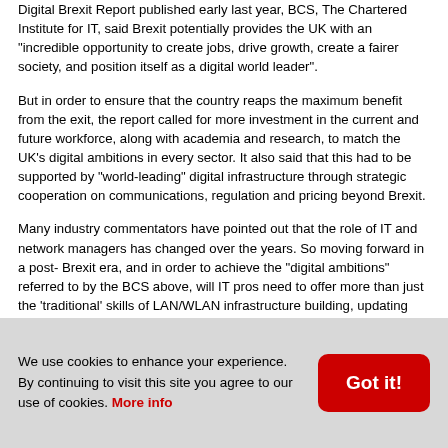Digital Brexit Report published early last year, BCS, The Chartered Institute for IT, said Brexit potentially provides the UK with an "incredible opportunity to create jobs, drive growth, create a fairer society, and position itself as a digital world leader".
But in order to ensure that the country reaps the maximum benefit from the exit, the report called for more investment in the current and future workforce, along with academia and research, to match the UK's digital ambitions in every sector. It also said that this had to be supported by "world-leading" digital infrastructure through strategic cooperation on communications, regulation and pricing beyond Brexit.
Many industry commentators have pointed out that the role of IT and network managers has changed over the years. So moving forward in a post- Brexit era, and in order to achieve the "digital ambitions" referred to by the BCS above, will IT pros need to offer more than just the 'traditional' skills of LAN/WLAN infrastructure building, updating software, maintaining server rooms, patch updates, etc.?
Part of the Maindec Group, MCSA provides IT services across the UK and operates from a number of key locations across the mainland. According to its MD Paul Timms, IT managers are no longer just 'techies' who exist to ensure system availability: "They are now more integrated into the business and have a key role in developing business
We use cookies to enhance your experience. By continuing to visit this site you agree to our use of cookies. More info